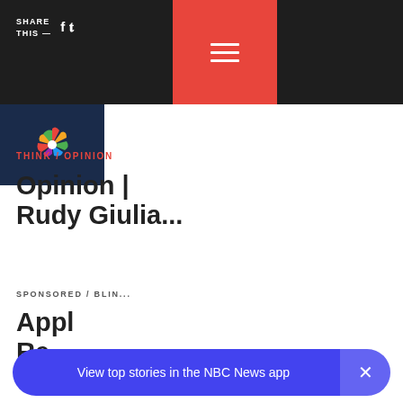SHARE THIS — [social icons] [hamburger menu]
[Figure (logo): NBC News peacock logo on dark navy background]
THINK / OPINION
Opinion | Rudy Giulia...
SPONSORED / BLIN...
Appl Re...
Apple
View top stories in the NBC News app